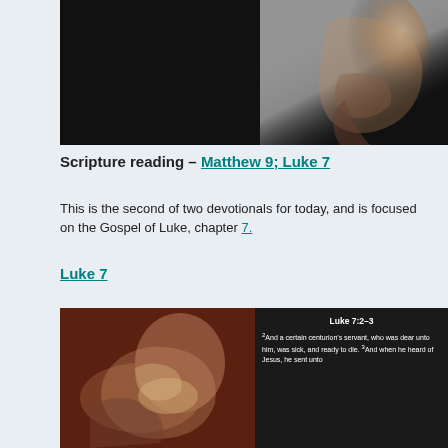[Figure (photo): Dark devotional image with text '(Luke 7)' on black background with a man's profile silhouette visible on right side. Copyright 2022 HeartofAShepherd.com]
Scripture reading – Matthew 9; Luke 7
This is the second of two devotionals for today, and is focused on the Gospel of Luke, chapter 7.
Luke 7
[Figure (photo): Left side shows painting of a person tending to a sick/dying man lying down. Right side shows dark overlay with Bible verse: Luke 7:2-3 - And a certain centurion's servant, who was dear unto him, was sick, and ready to die. And when he heard of Jesus, he sent unto...]